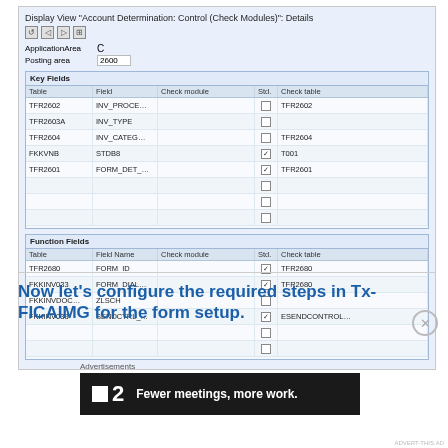[Figure (screenshot): SAP display view screenshot: Account Determination Control Check Modules Details. Shows Key Fields table with rows TFR2602/INV_PROCE, TFR2603A/INV_TYPE, TFR2604/INV_CATEG, FKKVNB/STDB8 (checked/T001), TFR2601/FORM_DET (checked/TFR2601). Function Fields table with TFR2680/FORM_ID (checked/TFR2680), FKKINV033/FORM_DIAL (checked/TFR2680), FKKINVDOC/ZLSCH, FKKINV033/SENDCTRL (checked/ESENDCONTROL).]
Now let's configure the required steps in Tx- FICAIMG for the form setup.
[Figure (other): Close/dismiss button (circle with X)]
[Figure (other): Advertisement banner: Flat2 logo with text 'Fewer meetings, more work.' on dark background]